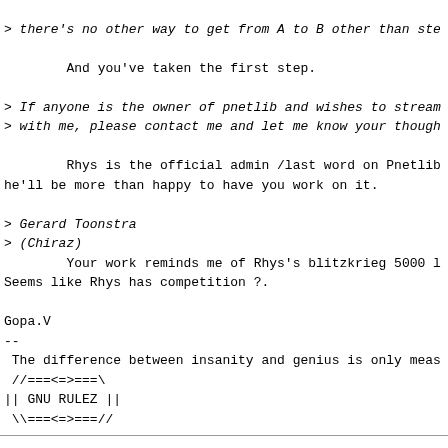> there's no other way to get from A to B other than ste

        And you've taken the first step.
> If anyone is the owner of pnetlib and wishes to stream
> with me, please contact me and let me know your though
Rhys is the official admin /last word on Pnetlib
 he'll be more than happy to have you work on it.
> Gerard Toonstra
> (Chiraz)
        Your work reminds me of Rhys's blitzkrieg 5000 l
Seems like Rhys has competition ?.
Gopa.V
--
 The difference between insanity and genius is only meas
 //===<=>===\\
|| GNU RULEZ ||
 \\===<=>===//
reply via email to
Gopal.V
[Prev in Thread]
Current Thread
[Next in Thread]